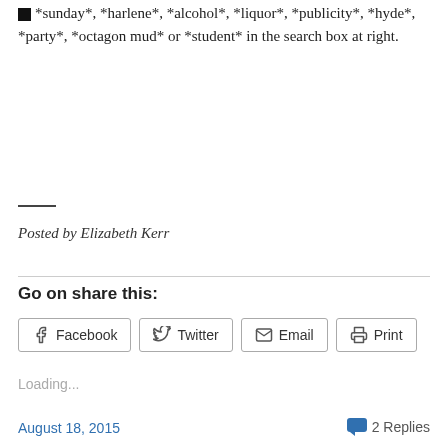*sunday*, *harlene*, *alcohol*, *liquor*, *publicity*, *hyde*, *party*, *octagon mud* or *student* in the search box at right.
—
Posted by Elizabeth Kerr
Go on share this:
Facebook  Twitter  Email  Print
Loading...
August 18, 2015   2 Replies